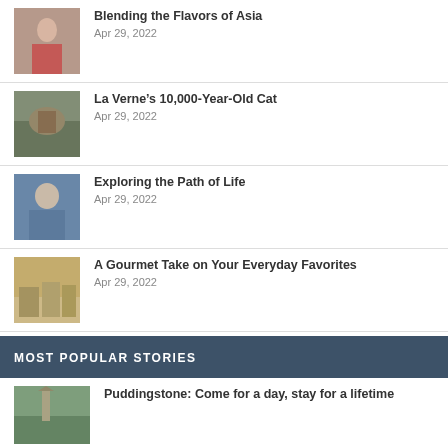Blending the Flavors of Asia
Apr 29, 2022
La Verne’s 10,000-Year-Old Cat
Apr 29, 2022
Exploring the Path of Life
Apr 29, 2022
A Gourmet Take on Your Everyday Favorites
Apr 29, 2022
MOST POPULAR STORIES
Puddingstone: Come for a day, stay for a lifetime